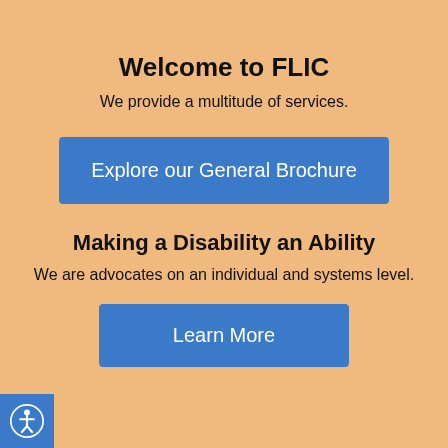Welcome to FLIC
We provide a multitude of services.
Explore our General Brochure
Making a Disability an Ability
We are advocates on an individual and systems level.
Learn More